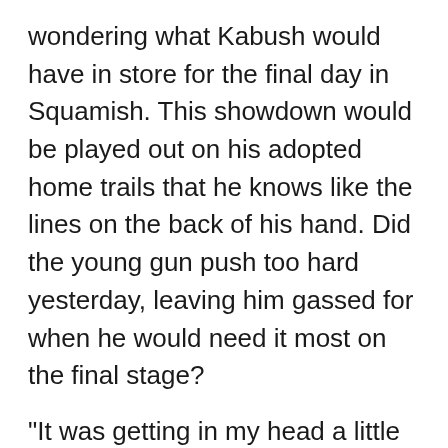wondering what Kabush would have in store for the final day in Squamish. This showdown would be played out on his adopted home trails that he knows like the lines on the back of his hand. Did the young gun push too hard yesterday, leaving him gassed for when he would need it most on the final stage?
"It was getting in my head a little and I was nervous this morning," Burke said. "But I was confident in my abilities."
If Burke was nervous it didn't show when he hit the dirt for Stage 7.
BCBR crews were already setting up the